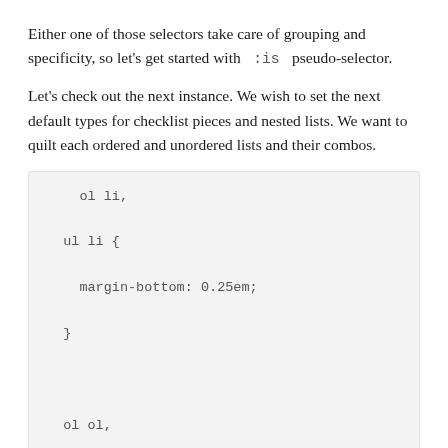Either one of those selectors take care of grouping and specificity, so let's get started with :is pseudo-selector.
Let's check out the next instance. We wish to set the next default types for checklist pieces and nested lists. We want to quilt each ordered and unordered lists and their combos.
ol li,
ul li {
  margin-bottom: 0.25em;
}


ol ol,
ul ul,
ol ul,
ul ol {